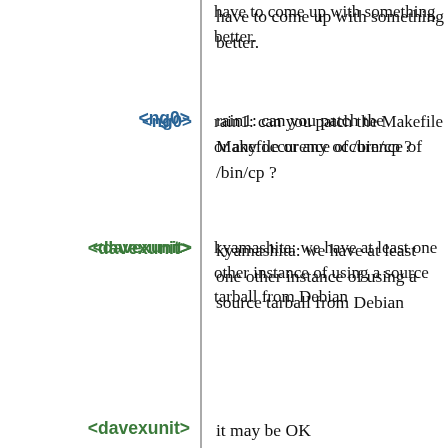have to come up with something better.
<ng0> rain1: can you patch the Makefile or any occurence of /bin/cp ?
<davexunit> kyamashita: we have at least one other instance of using a source tarball from Debian
<davexunit> it may be OK
<rain1> I'll try that
<ng0> something like (/bin/cp) (which "cp") or something
<kyamashita> Okay. I've sent the patch to the quix-devel